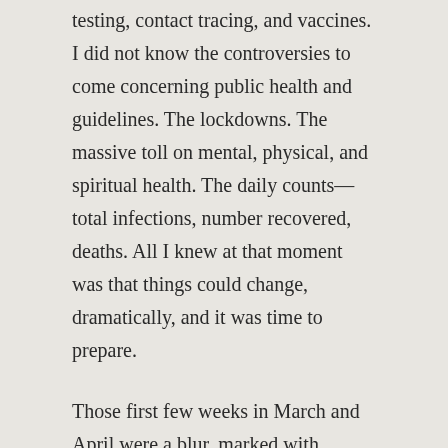testing, contact tracing, and vaccines. I did not know the controversies to come concerning public health and guidelines. The lockdowns. The massive toll on mental, physical, and spiritual health. The daily counts—total infections, number recovered, deaths. All I knew at that moment was that things could change, dramatically, and it was time to prepare.
Those first few weeks in March and April were a blur, marked with moments of crystal clarity. Sending a heads up to loved ones, considering worst case scenarios, brainstorming solutions, stocking up on essentials, coordinating support for friends and family, gearing up for possible disrupted services, getting authorization as an essential worker to travel, and so on. I felt like I was rushing to get everyone safe behind the